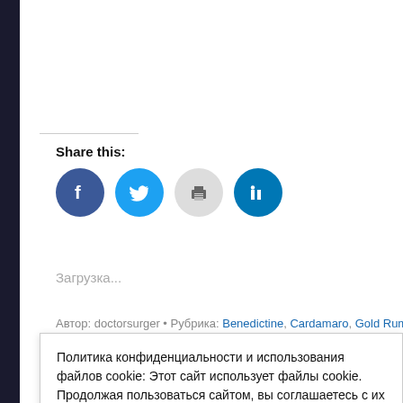Share this:
[Figure (infographic): Four circular social share buttons: Facebook (blue), Twitter (blue), Print (gray), LinkedIn (dark blue)]
Загрузка...
Автор: doctorsurger • Рубрика: Benedictine, Cardamaro, Gold Rum, Jerry Thomas D
Политика конфиденциальности и использования файлов cookie: Этот сайт использует файлы cookie. Продолжая пользоваться сайтом, вы соглашаетесь с их использованием.
Дополнительную информацию, в том числе об управлении файлами cookie, можно найти здесь: Политика использования файлов cookie
Принять и закрыть